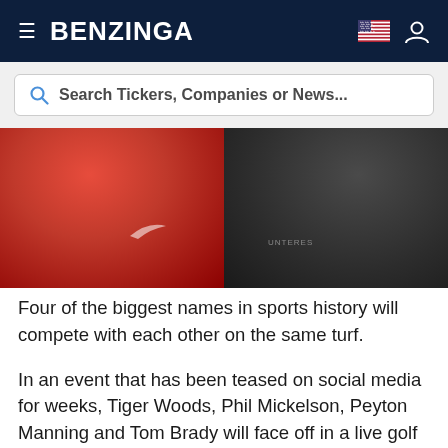BENZINGA
Search Tickers, Companies or News...
[Figure (photo): Two men sitting side by side. The man on the left is wearing a red Nike hoodie, the man on the right is wearing a dark gray zip-up jacket.]
Four of the biggest names in sports history will compete with each other on the same turf.
In an event that has been teased on social media for weeks, Tiger Woods, Phil Mickelson, Peyton Manning and Tom Brady will face off in a live golf competition called "The Match: Champions for Charity," with all